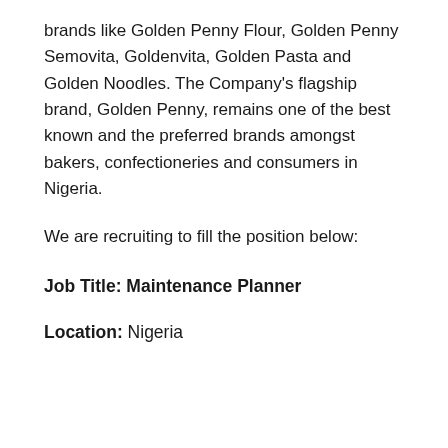brands like Golden Penny Flour, Golden Penny Semovita, Goldenvita, Golden Pasta and Golden Noodles. The Company's flagship brand, Golden Penny, remains one of the best known and the preferred brands amongst bakers, confectioneries and consumers in Nigeria.
We are recruiting to fill the position below:
Job Title: Maintenance Planner
Location: Nigeria